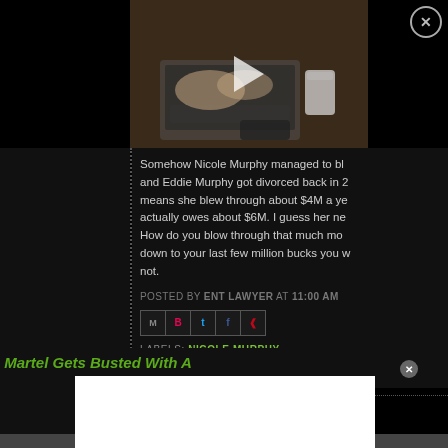[Figure (screenshot): Video thumbnail showing hands typing on a laptop with a coffee cup, black background, with a play button overlay]
Somehow Nicole Murphy managed to bl... and Eddie Murphy got divorced back in 2... means she blew through about $4M a ye... actually owes about $6M. I guess her ne... How do you blow through that much mo... down to your last few million bucks you w... not.
POSTED BY ENT LAWYER AT 11:00 AM
[Figure (screenshot): Row of social sharing icons: email, Blogger, Twitter, Facebook, Pinterest]
LABELS: NICOLE MURPHY
Martel Gets Busted With A